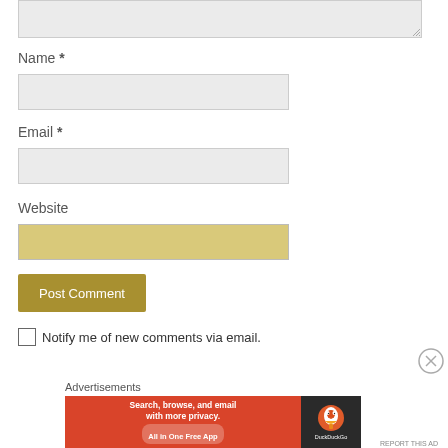[Figure (screenshot): Top portion of a comment form textarea (resizable input box, grayed out), partially cropped at top]
Name *
[Figure (screenshot): Name input field, empty, light gray background]
Email *
[Figure (screenshot): Email input field, empty, light gray background]
Website
[Figure (screenshot): Website input field, empty, slightly darker gray/gold-tinted background]
[Figure (screenshot): Post Comment button, gold/olive colored background with white text]
Notify me of new comments via email.
Advertisements
[Figure (screenshot): DuckDuckGo advertisement banner: orange-red left panel with text 'Search, browse, and email with more privacy. All in One Free App' and dark right panel with DuckDuckGo logo]